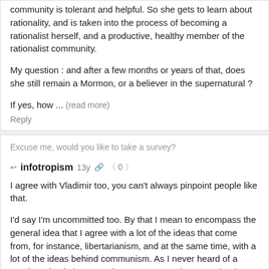community is tolerant and helpful. So she gets to learn about rationality, and is taken into the process of becoming a rationalist herself, and a productive, healthy member of the rationalist community.
My question : and after a few months or years of that, does she still remain a Mormon, or a believer in the supernatural ?
If yes, how ... (read more)
Reply
Excuse me, would you like to take a survey?
infotropism  13y  0
I agree with Vladimir too, you can't always pinpoint people like that.
I'd say I'm uncommitted too. By that I mean to encompass the general idea that I agree with a lot of the ideas that come from, for instance, libertarianism, and at the same time, with a lot of the ideas behind communism. As I never heard of a good synthesis between the two, so I stand uncommitted.
Reply